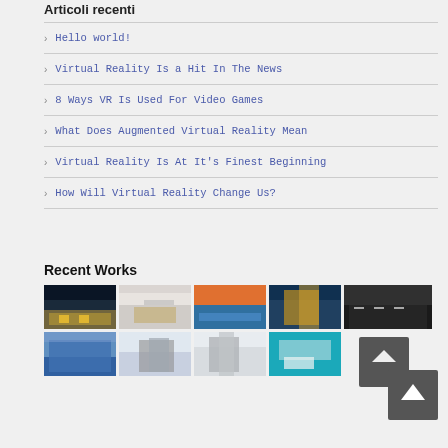Articoli recenti
Hello world!
Virtual Reality Is a Hit In The News
8 Ways VR Is Used For Video Games
What Does Augmented Virtual Reality Mean
Virtual Reality Is At It's Finest Beginning
How Will Virtual Reality Change Us?
Recent Works
[Figure (photo): Grid of 10 architectural photos showing modern buildings, interiors, and abstract structures arranged in 2 rows of 5]
[Figure (other): Dark grey scroll-to-top button with upward chevron arrow]